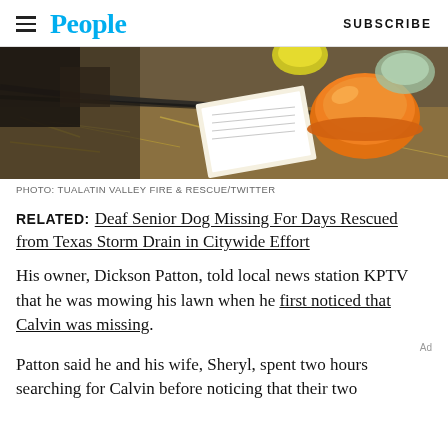People | SUBSCRIBE
[Figure (photo): Overhead view of rescue equipment including orange hard hat/helmet, documents/papers, hoses or cables, straw/hay on ground — appears to be a rescue scene at a drain or confined space]
PHOTO: TUALATIN VALLEY FIRE & RESCUE/TWITTER
RELATED: Deaf Senior Dog Missing For Days Rescued from Texas Storm Drain in Citywide Effort
His owner, Dickson Patton, told local news station KPTV that he was mowing his lawn when he first noticed that Calvin was missing.
Patton said he and his wife, Sheryl, spent two hours searching for Calvin before noticing that their two